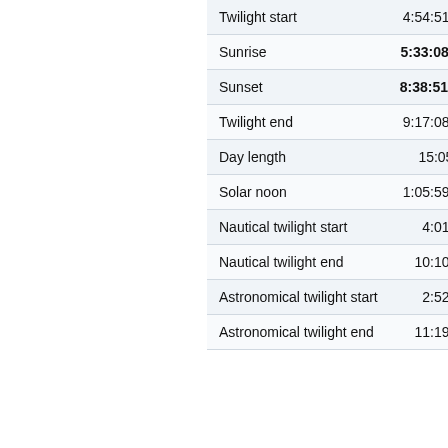| Event | Time |
| --- | --- |
| Twilight start | 4:54:51 am |
| Sunrise | 5:33:08 am |
| Sunset | 8:38:51 pm |
| Twilight end | 9:17:08 pm |
| Day length | 15:05:43 |
| Solar noon | 1:05:59 pm |
| Nautical twilight start | 4:01 am |
| Nautical twilight end | 10:10 pm |
| Astronomical twilight start | 2:52 am |
| Astronomical twilight end | 11:19 pm |